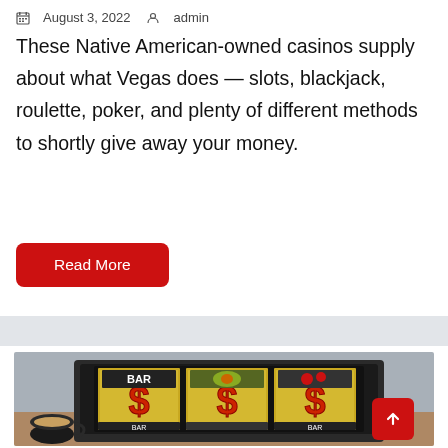August 3, 2022   admin
These Native American-owned casinos supply about what Vegas does — slots, blackjack, roulette, poker, and plenty of different methods to shortly give away your money.
Read More
[Figure (photo): Laptop on a wooden desk with a coffee mug. The laptop screen shows a slot machine with three reels displaying dollar signs ($$$). A red scroll-to-top button is in the bottom right corner.]